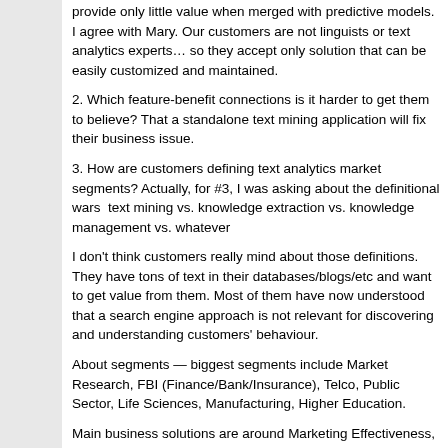provide only little value when merged with predictive models.
I agree with Mary. Our customers are not linguists or text analytics experts… so they accept only solution that can be easily customized and maintained.
2. Which feature-benefit connections is it harder to get them to believe? That a standalone text mining application will fix their business issue.
3. How are customers defining text analytics market segments? Actually, for #3, I was asking about the definitional wars  text mining vs. knowledge extraction vs. knowledge management vs. whatever
I don't think customers really mind about those definitions. They have tons of text in their databases/blogs/etc and want to get value from them. Most of them have now understood that a search engine approach is not relevant for discovering and understanding customers' behaviour.
About segments — biggest segments include Market Research, FBI (Finance/Bank/Insurance), Telco, Public Sector, Life Sciences, Manufacturing, Higher Education.
Main business solutions are around Marketing Effectiveness, Fraud Detection and Prevention, Risk Management, Enterprise Feedback Management, Public Health and Safety, Administration and Institutional Research, Scientific Research.
5. Which application areas are showing growth even beyond that of the